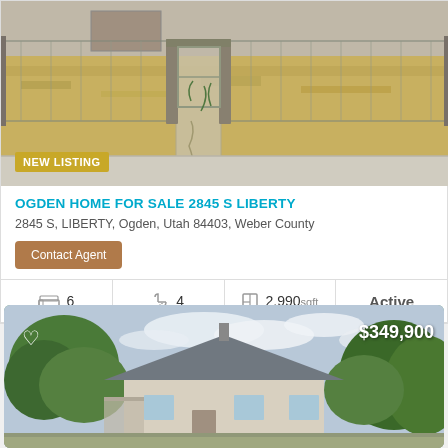[Figure (photo): Fenced vacant lot with dry yellow grass and chain-link gate, sidewalk in foreground]
NEW LISTING
OGDEN HOME FOR SALE 2845 S LIBERTY
2845 S, LIBERTY, Ogden, Utah 84403, Weber County
Contact Agent
| Beds | Baths | Sqft | Status |
| --- | --- | --- | --- |
| 6 | 4 | 2,990 sqft | Active |
[Figure (photo): House with gray roof surrounded by green trees, cloudy sky, price overlay $349,900]